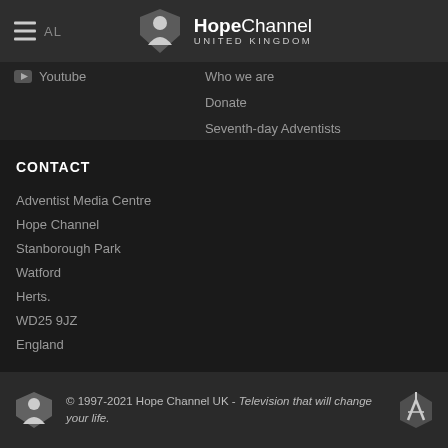[Figure (logo): Hope Channel United Kingdom logo with stylized person icon and text]
Youtube
Who we are
Donate
Seventh-day Adventists
CONTACT
Adventist Media Centre
Hope Channel
Stanborough Park
Watford
Herts.
WD25 9JZ
England
© 1997-2021 Hope Channel UK - Television that will change your life.